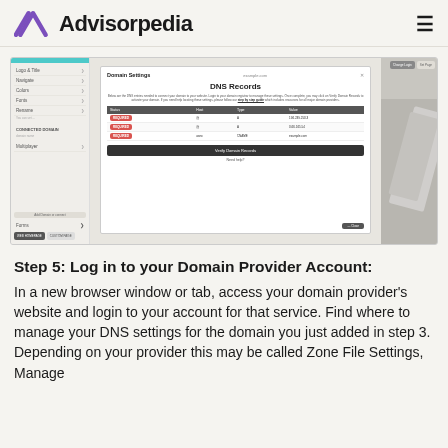Advisorpedia
[Figure (screenshot): Screenshot of a website interface showing a Domain Settings modal with DNS Records. The modal displays a table with columns: Status, Host, Type, Value. Three rows show REQUIRED badges with A and CNAME record types. A 'Verify Domain Records' button and 'Need help?' link are visible. The interface shows a left navigation panel and right decorative image area.]
Step 5: Log in to your Domain Provider Account:
In a new browser window or tab, access your domain provider's website and login to your account for that service. Find where to manage your DNS settings for the domain you just added in step 3. Depending on your provider this may be called Zone File Settings, Manage